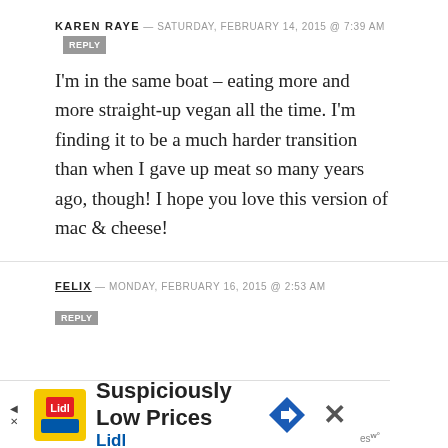KAREN RAYE — SATURDAY, FEBRUARY 14, 2015 @ 7:39 AM  REPLY
I'm in the same boat – eating more and more straight-up vegan all the time. I'm finding it to be a much harder transition than when I gave up meat so many years ago, though! I hope you love this version of mac & cheese!
FELIX — MONDAY, FEBRUARY 16, 2015 @ 2:53 AM  REPLY
[Figure (screenshot): Advertisement banner: Lidl 'Suspiciously Low Prices' with yellow logo, blue navigation arrow icon, and X close button]